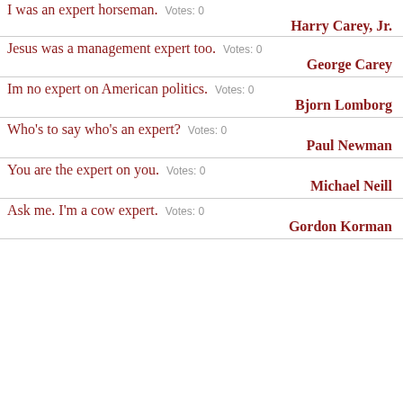I was an expert horseman. Votes: 0
Harry Carey, Jr.
Jesus was a management expert too. Votes: 0
George Carey
Im no expert on American politics. Votes: 0
Bjorn Lomborg
Who's to say who's an expert? Votes: 0
Paul Newman
You are the expert on you. Votes: 0
Michael Neill
Ask me. I'm a cow expert. Votes: 0
Gordon Korman